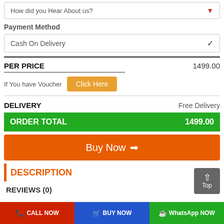How did you Hear About us?
Payment Method
Cash On Delivery
PER PRICE    1499.00
If You have Voucher   Click Here
DELIVERY    Free Delivery
ORDER TOTAL    1499.00
Buy Now
DESCRIPTION
REVIEWS (0)
CALL NOW   BUY NOW   WhatsApp NOW